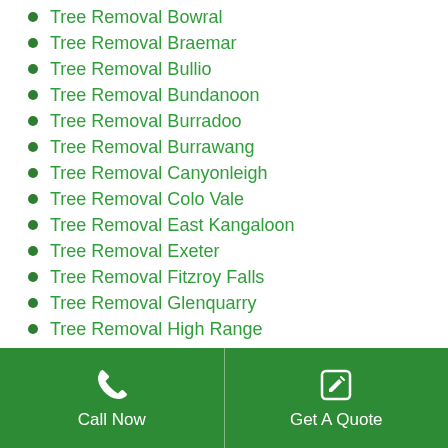Tree Removal Bowral
Tree Removal Braemar
Tree Removal Bullio
Tree Removal Bundanoon
Tree Removal Burradoo
Tree Removal Burrawang
Tree Removal Canyonleigh
Tree Removal Colo Vale
Tree Removal East Kangaloon
Tree Removal Exeter
Tree Removal Fitzroy Falls
Tree Removal Glenquarry
Tree Removal High Range
Tree Removal Hill Top
Tree Removal Joadja
Tree Removal Kangaloon
Call Now | Get A Quote